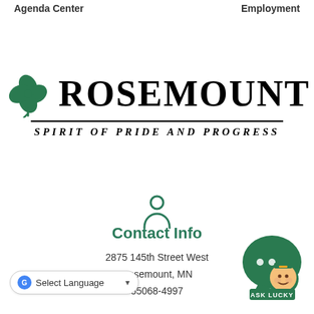Agenda Center   Employment
[Figure (logo): Rosemount city logo with green four-leaf clover and text ROSEMOUNT, SPIRIT OF PRIDE AND PROGRESS]
[Figure (illustration): Person/user silhouette icon in dark teal/green]
Contact Info
2875 145th Street West
Rosemount, MN
55068-4997
[Figure (illustration): Ask Lucky chat bubble mascot with leprechaun character]
Select Language